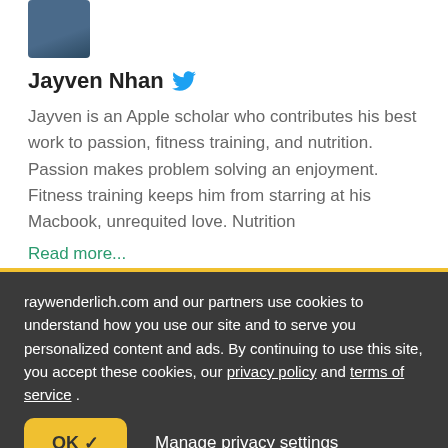[Figure (photo): Profile photo of Jayven Nhan, partial view at top]
Jayven Nhan
Jayven is an Apple scholar who contributes his best work to passion, fitness training, and nutrition. Passion makes problem solving an enjoyment. Fitness training keeps him from starring at his Macbook, unrequited love. Nutrition
Read more...
[Figure (photo): Profile photo of second author, partial view]
raywenderlich.com and our partners use cookies to understand how you use our site and to serve you personalized content and ads. By continuing to use this site, you accept these cookies, our privacy policy and terms of service .
OK ✓
Manage privacy settings